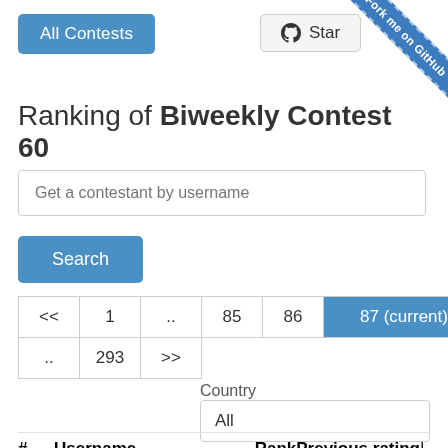[Figure (screenshot): LeetCode All Contests button (blue rounded rectangle)]
[Figure (screenshot): GitHub Star button with Octocat icon]
[Figure (screenshot): Fork me on GitHub blue diagonal ribbon in top-right corner]
Ranking of Biweekly Contest 60
Get a contestant by username
Search
| << | 1 | .. | 85 | 86 | 87 (current) | 88 | 89 |
| --- | --- | --- | --- | --- | --- | --- | --- |
| .. | 293 | >> |  |  |  |  |  |
Country
All
| # | Username | Rank | Previous rating |  |
| --- | --- | --- | --- | --- |